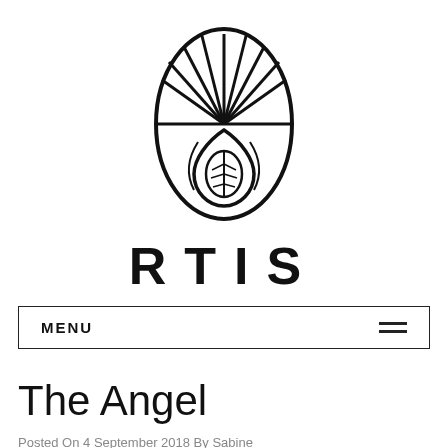[Figure (logo): ARTIS brand logo: an oval shape containing a stylized leaf/drop design with radiating lines at the top, geometric line art style, black on white]
RTIS
MENU ≡
The Angel
Posted On 4 September 2018 By Sabine